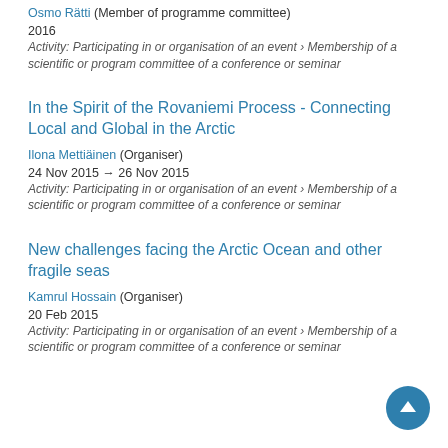[partial title at top, cut off]
Osmo Rätti (Member of programme committee)
2016
Activity: Participating in or organisation of an event › Membership of a scientific or program committee of a conference or seminar
In the Spirit of the Rovaniemi Process - Connecting Local and Global in the Arctic
Ilona Mettiäinen (Organiser)
24 Nov 2015 → 26 Nov 2015
Activity: Participating in or organisation of an event › Membership of a scientific or program committee of a conference or seminar
New challenges facing the Arctic Ocean and other fragile seas
Kamrul Hossain (Organiser)
20 Feb 2015
Activity: Participating in or organisation of an event › Membership of a scientific or program committee of a conference or seminar